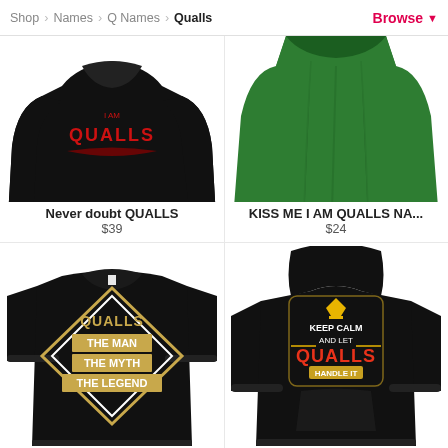Shop > Names > Q Names > Qualls  Browse
[Figure (photo): Black sweatshirt with QUALLS text in red on the front]
Never doubt QUALLS
$39
[Figure (photo): Green t-shirt (KISS ME I AM QUALLS NA...)]
KISS ME I AM QUALLS NA...
$24
[Figure (photo): Black t-shirt with QUALLS THE MAN THE MYTH THE LEGEND graphic]
[Figure (photo): Black hoodie with KEEP CALM AND LET QUALLS HANDLE IT graphic]